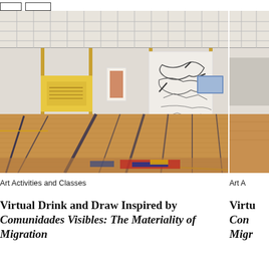[Figure (photo): Gallery installation photo showing a gymnasium-like space with a basketball court floor painted with colorful patterns. Gold/yellow vertical poles support hanging textile works. A large charcoal drawing on paper hangs between two poles. Additional smaller works on walls, including a blue screen on the right wall. Large industrial windows at top.]
[Figure (photo): Partial view of a second gallery installation photo, partially cropped on the right side of the page.]
Art Activities and Classes
Art A
Virtual Drink and Draw Inspired by Comunidades Visibles: The Materiality of Migration
Virtual Drink and Draw Inspired by Comunidades Visibles: The Materiality of Migration (partial)